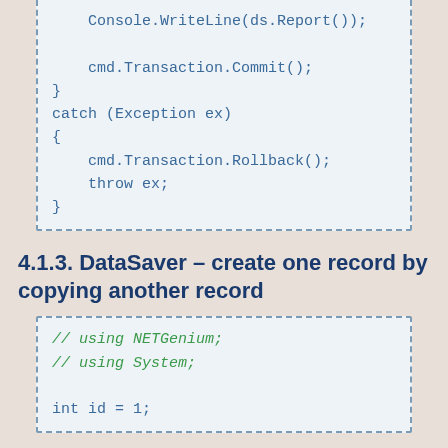Console.WriteLine(ds.Report());
    cmd.Transaction.Commit();
}
catch (Exception ex)
{
    cmd.Transaction.Rollback();
    throw ex;
}
4.1.3. DataSaver – create one record by copying another record
// using NETGenium;
// using System;

int id = 1;